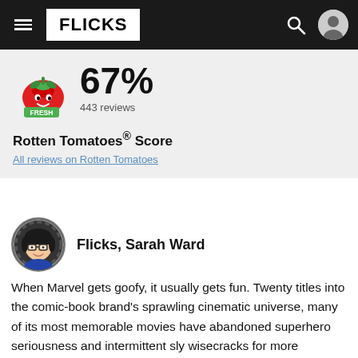FLICKS
[Figure (logo): Rotten Tomatoes Fresh badge logo]
67%
443 reviews
Rotten Tomatoes® Score
All reviews on Rotten Tomatoes
[Figure (illustration): Avatar of Flicks reviewer Sarah Ward — animated female character with dark hair and glasses, in a film-reel circular frame]
Flicks, Sarah Ward
When Marvel gets goofy, it usually gets fun. Twenty titles into the comic-book brand's sprawling cinematic universe, many of its most memorable movies have abandoned superhero seriousness and intermittent sly wisecracks for more amusing and even silly fare. The fish-out-of-water, gods-versus-humans antics of the Thor films and the Time Gem continuity focus of